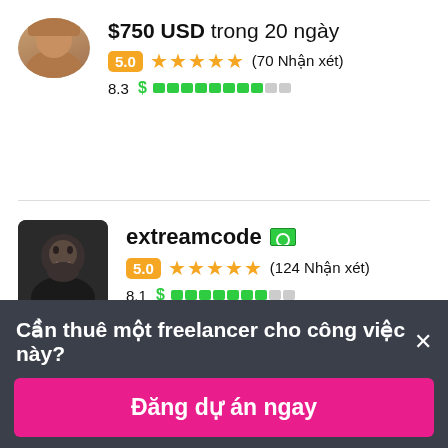$750 USD trong 20 ngày
5.0 ★★★★★ (70 Nhận xét)
8.3 $ ██████████░░
extreamcode 🇵🇰
5.0 ★★★★★ (124 Nhận xét)
8.1 $ ████████░░
Cần thuê một freelancer cho công việc này? ×
Đăng dự án ngay